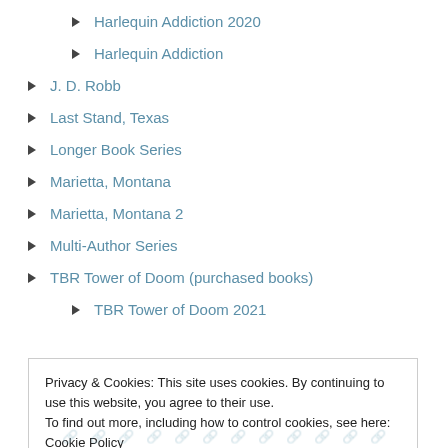Harlequin Addiction 2020
Harlequin Addiction
J. D. Robb
Last Stand, Texas
Longer Book Series
Marietta, Montana
Marietta, Montana 2
Multi-Author Series
TBR Tower of Doom (purchased books)
TBR Tower of Doom 2021
Privacy & Cookies: This site uses cookies. By continuing to use this website, you agree to their use.
To find out more, including how to control cookies, see here: Cookie Policy
Close and accept